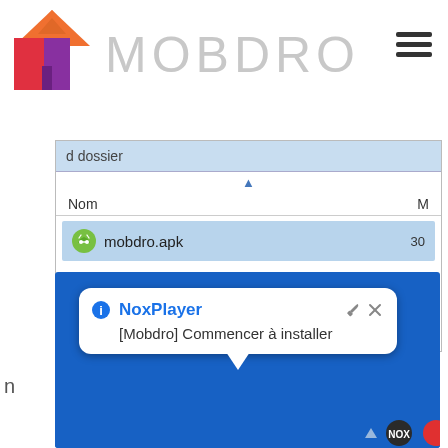[Figure (screenshot): Mobdro app website header with house-shaped logo icon in orange/red/purple gradient, MOBDRO text in light gray, and hamburger menu icon on the right]
[Figure (screenshot): File manager window showing a folder listing. Column headers: Nom, M. A selected row shows mobdro.apk file with an Android APK icon and size starting with 30. Partial text 'd dossier' in header bar.]
[Figure (screenshot): NoxPlayer notification popup on blue background showing 'NoxPlayer' title in blue with info icon, wrench and X icons, and message '[Mobdro] Commencer à installer'. A taskbar is visible at the bottom.]